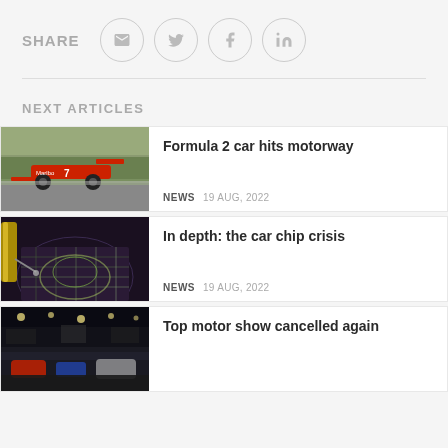SHARE
[Figure (infographic): Share icons row: email, Twitter, Facebook, LinkedIn — each in a grey circle outline]
Formula 2 car hits motorway — NEWS 19 AUG, 2022
In depth: the car chip crisis — NEWS 19 AUG, 2022
Top motor show cancelled again